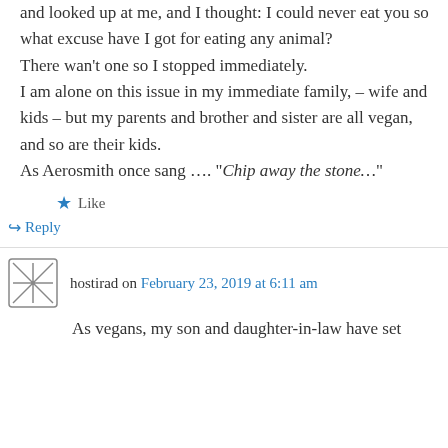and looked up at me, and I thought: I could never eat you so what excuse have I got for eating any animal?
There wan't one so I stopped immediately.

I am alone on this issue in my immediate family, – wife and kids – but my parents and brother and sister are all vegan, and so are their kids.

As Aerosmith once sang …. "Chip away the stone…"
★ Like
↪ Reply
hostirad on February 23, 2019 at 6:11 am
As vegans, my son and daughter-in-law have set